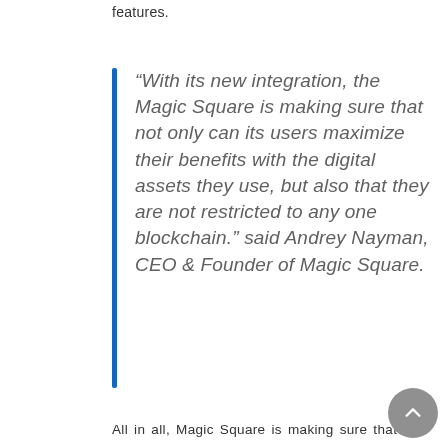features.
“With its new integration, the Magic Square is making sure that not only can its users maximize their benefits with the digital assets they use, but also that they are not restricted to any one blockchain.” said Andrey Nayman, CEO & Founder of Magic Square.
All in all, Magic Square is making sure that the blockchain world is as connected and robust as possible.
Did you like this?
Tip Bitcoin Tradeboard with Cryptocurrency